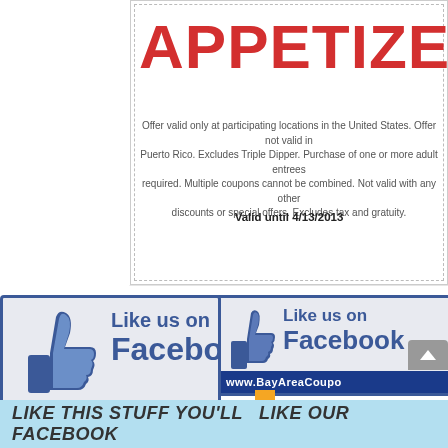[Figure (screenshot): Chili's restaurant coupon showing 'APPETIZER' in large red text with offer details and barcode 125 742 89, valid until 4/13/2013. Right side shows personalized message to 'Burt' with instructions to print and a partially visible barcode.]
[Figure (infographic): Facebook 'Like us on Facebook' promotional banner with blue thumbs-up like button icon on left, 'Like us on Facebook' text in blue, partially visible coupon imagery on right, and dark blue banner at bottom reading 'www.BayAreaCoupon...' with a scroll-to-top button. Below the banner is a large orange downward-pointing arrow.]
LIKE THIS STUFF YOU'LL  LIKE OUR FACEBOOK